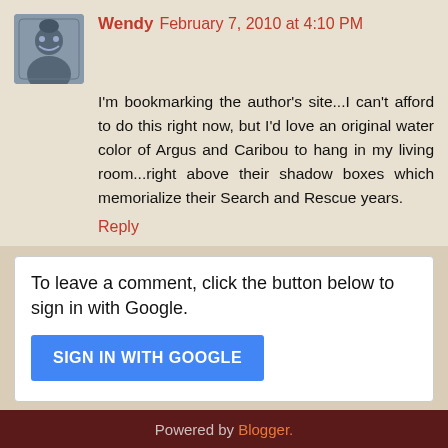Wendy February 7, 2010 at 4:10 PM
I'm bookmarking the author's site...I can't afford to do this right now, but I'd love an original water color of Argus and Caribou to hang in my living room...right above their shadow boxes which memorialize their Search and Rescue years.
Reply
To leave a comment, click the button below to sign in with Google.
SIGN IN WITH GOOGLE
Home
View web version
Powered by Blogger.